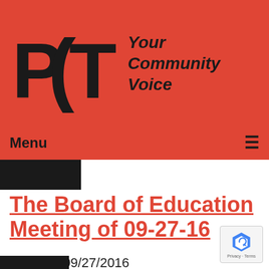[Figure (logo): PCTV logo with text 'Your Community Voice' on red background]
Menu ☰
The Board of Education Meeting of 09-27-16
Airdate: 09/27/2016
Watched: 33 times